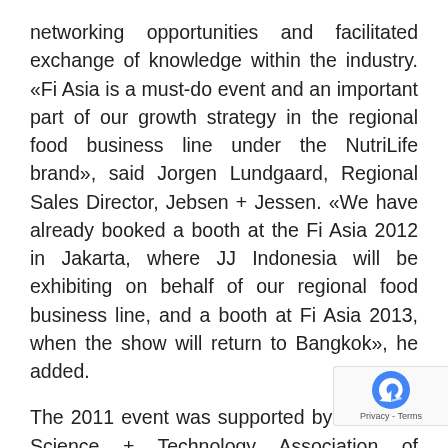networking opportunities and facilitated exchange of knowledge within the industry. «Fi Asia is a must-do event and an important part of our growth strategy in the regional food business line under the NutriLife brand», said Jorgen Lundgaard, Regional Sales Director, Jebsen + Jessen. «We have already booked a booth at the Fi Asia 2012 in Jakarta, where JJ Indonesia will be exhibiting on behalf of our regional food business line, and a booth at Fi Asia 2013, when the show will return to Bangkok», he added.
The 2011 event was supported by the Food Science + Technology Association of Thailand, the National Food Institute, the Food Industry Club, the Federation of Thai Industries, and the Food